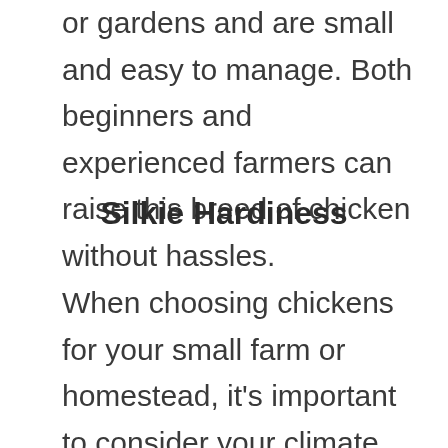or gardens and are small and easy to manage. Both beginners and experienced farmers can raise this breed of chicken without hassles.
Silkie Hardiness
When choosing chickens for your small farm or homestead, it's important to consider your climate. While all chickens need shelter, some will do better in colder climates than others. A Silkie will do best in a moderate climate. They will not thrive